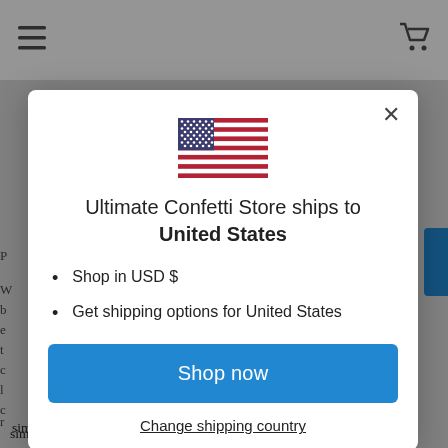[Figure (screenshot): Modal dialog on an e-commerce website (Ultimate Confetti Store) showing shipping country selector with US flag, text 'Ultimate Confetti Store ships to United States', bullet points listing 'Shop in USD $' and 'Get shipping options for United States', a blue 'Shop now' button, and a 'Change shipping country' link. Background shows partially visible page content.]
Ultimate Confetti Store ships to United States
Shop in USD $
Get shipping options for United States
Shop now
Change shipping country
simple crafts with confetti that you can pull off at home: